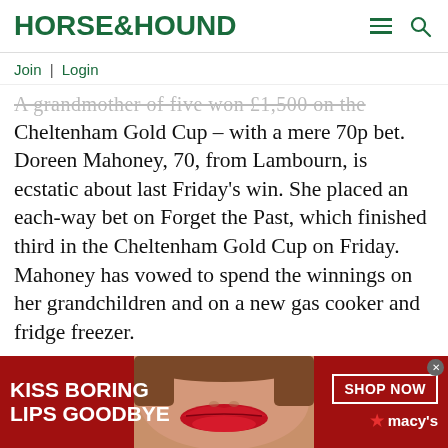HORSE&HOUND
Join | Login
A grandmother of five won £1,500 on the Cheltenham Gold Cup – with a mere 70p bet. Doreen Mahoney, 70, from Lambourn, is ecstatic about last Friday's win. She placed an each-way bet on Forget the Past, which finished third in the Cheltenham Gold Cup on Friday. Mahoney has vowed to spend the winnings on her grandchildren and on a new gas cooker and fridge freezer.
[Figure (infographic): Macy's advertisement banner: red background with 'KISS BORING LIPS GOODBYE' text on the left, a woman's face with red lips in the center, and 'SHOP NOW' button with Macy's star logo on the right.]